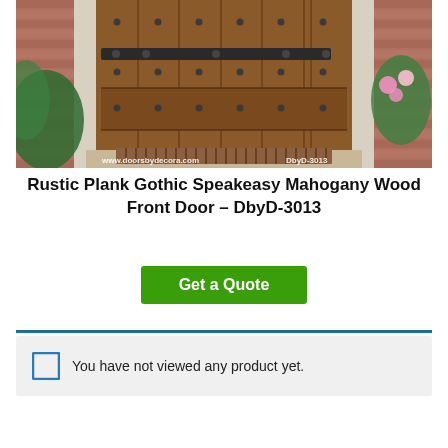[Figure (photo): Photo of a rustic plank gothic speakeasy mahogany wood front door with iron hardware studs and strap hinges, flanked by brick columns and greenery. Watermark text: www.doorsbydecora.com and DbyD-3013]
Rustic Plank Gothic Speakeasy Mahogany Wood Front Door – DbyD-3013
Get a Quote
You have not viewed any product yet.